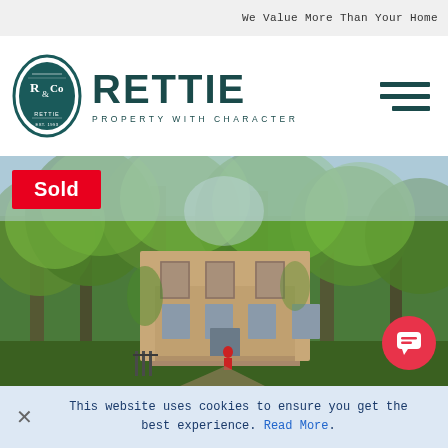We Value More Than Your Home
[Figure (logo): Rettie & Co logo - oval emblem with R&Co monogram, brand name RETTIE in large teal font, tagline PROPERTY WITH CHARACTER below]
[Figure (photo): A Victorian stone house surrounded by large green trees in full leaf, photographed from above/outside. A red figure near the entrance. Sold badge overlaid in red.]
Sold
This website uses cookies to ensure you get the best experience. Read More.